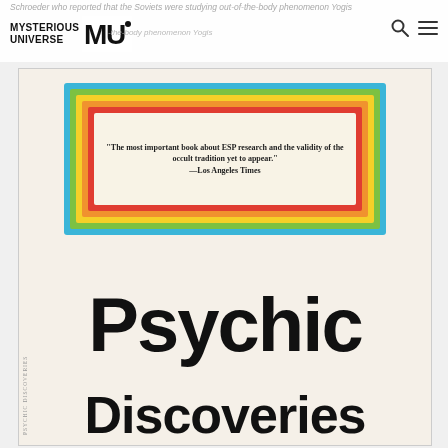Schroeder who reported that the Soviets were studying out-of-the-body phenomenon Yogis
[Figure (photo): Book cover of 'Psychic Discoveries' with a rainbow-bordered box containing a quote: 'The most important book about ESP research and the validity of the occult tradition yet to appear.' — Los Angeles Times. Large bold title text reads 'Psychic Discoveries'.]